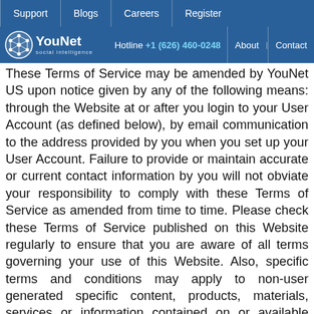Support | Blogs | Careers | Register
YouNet social intelligence | Hotline +1 (626) 460-0248 | About | Contact
These Terms of Service may be amended by YouNet US upon notice given by any of the following means: through the Website at or after you login to your User Account (as defined below), by email communication to the address provided by you when you set up your User Account. Failure to provide or maintain accurate or current contact information by you will not obviate your responsibility to comply with these Terms of Service as amended from time to time. Please check these Terms of Service published on this Website regularly to ensure that you are aware of all terms governing your use of this Website. Also, specific terms and conditions may apply to non-user generated specific content, products, materials, services or information contained on or available through this Website (the “Content”) or transactions concluded through this Website. Such specific terms may be in addition to these Terms of Service or, where inconsistent with these Terms of Service such specific